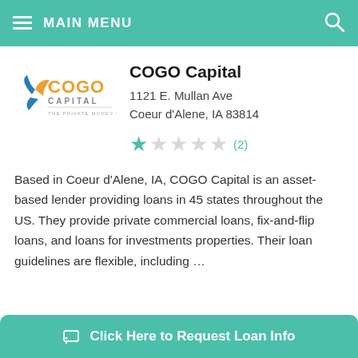MAIN MENU
[Figure (logo): COGO Capital logo — orange star/bird icon with COGO in orange text and CAPITAL below in gray, tagline 'THE PRIVATE MONEY COMPANY']
COGO Capital
1121 E. Mullan Ave
Coeur d'Alene, IA 83814
★☆☆☆☆ (2)
Based in Coeur d'Alene, IA, COGO Capital is an asset-based lender providing loans in 45 states throughout the US. They provide private commercial loans, fix-and-flip loans, and loans for investments properties. Their loan guidelines are flexible, including …
Click Here to Request Loan Info